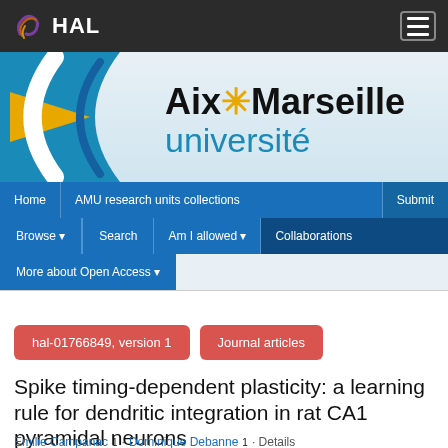HAL
[Figure (logo): Aix-Marseille Université logo banner with blue arc, yellow triangle, and institution name]
Home | AMU research units collections | Submit | Browse | Search | Am I allowed | Collaborations | More about Open Access
hal-01766849, version 1 | Journal articles
Spike timing-dependent plasticity: a learning rule for dendritic integration in rat CA1 pyramidal neurons
Emilie Campanac 1 · Dominique Debanne 1 · Details